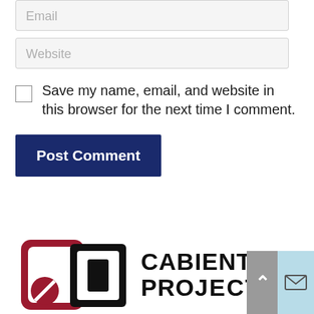Email
Website
Save my name, email, and website in this browser for the next time I comment.
Post Comment
[Figure (logo): Cabient Project logo with red and black icon and bold text reading CABIENT PROJECT]